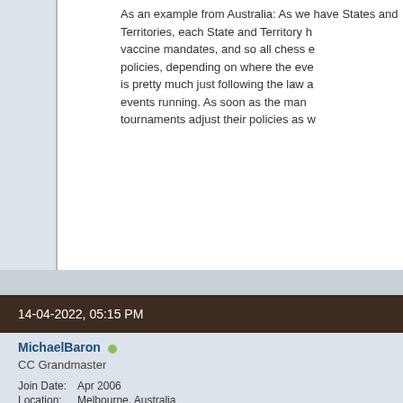As an example from Australia: As we have States and Territories, each State and Territory has their own vaccine mandates, and so all chess events have different policies, depending on where the event is held. Chess is pretty much just following the law and mandates to keep events running. As soon as the mandates are lifted, tournaments adjust their policies as well.
14-04-2022, 05:15 PM
MichaelBaron
CC Grandmaster
Join Date: Apr 2006
Location: Melbourne, Australia
Posts: 18,742
Originally Posted by Garvinator
Fide's motto is irrelevant. What is the current status of vaccine mandates in New Zealand and how they apply to Controlled Events, which usually fall under the private hire events.
This why there are now some outdoor events held in Melbourne.